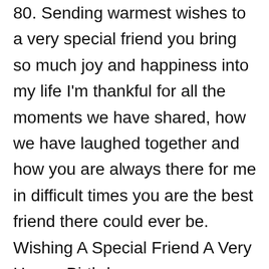80. Sending warmest wishes to a very special friend you bring so much joy and happiness into my life I'm thankful for all the moments we have shared, how we have laughed together and how you are always there for me in difficult times you are the best friend there could ever be. Wishing A Special Friend A Very Happy Birthday
Happy Birthday Wishes For Friend Quotes
81. Wishing you a birthday that is happy all day through for no one else in all the world